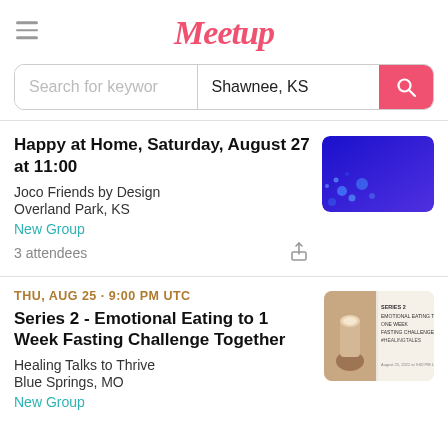Meetup
Search for keyword | Shawnee, KS
Happy at Home, Saturday, August 27 at 11:00
Joco Friends by Design
Overland Park, KS
New Group
3 attendees
[Figure (photo): Blue gradient background with light dots pattern for Happy at Home event]
THU, AUG 25 · 9:00 PM UTC
Series 2 - Emotional Eating to 1 Week Fasting Challenge Together
Healing Talks to Thrive
Blue Springs, MO
New Group
[Figure (photo): Wellness event image showing a hand holding a small cup with text overlay: SERIES 2 EMOTIONAL EATING TO ONE WEEK FASTING CHALLENGE #HEALINGTALES]